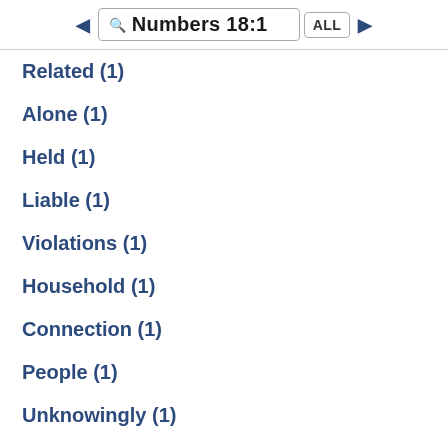Numbers 18:1 ALL
Related (1)
Alone (1)
Held (1)
Liable (1)
Violations (1)
Household (1)
Connection (1)
People (1)
Unknowingly (1)
Commit (1)
Brought (1)
Contact (1)
Manifestations (1)